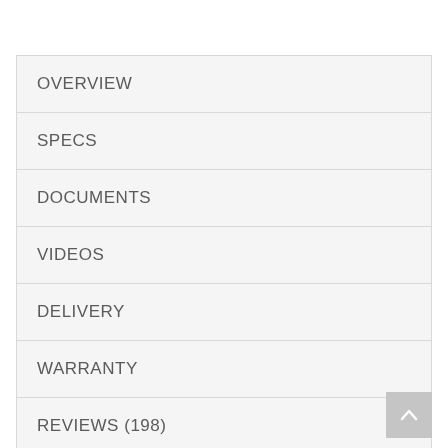OVERVIEW
SPECS
DOCUMENTS
VIDEOS
DELIVERY
WARRANTY
REVIEWS (198)